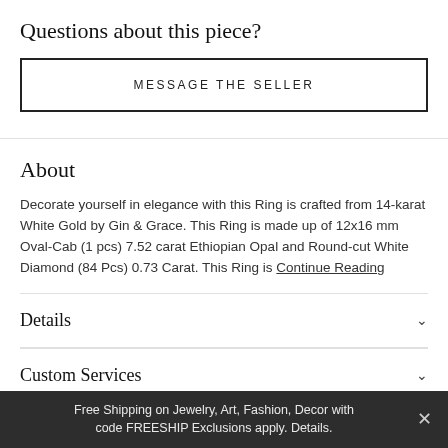Questions about this piece?
MESSAGE THE SELLER
About
Decorate yourself in elegance with this Ring is crafted from 14-karat White Gold by Gin & Grace. This Ring is made up of 12x16 mm Oval-Cab (1 pcs) 7.52 carat Ethiopian Opal and Round-cut White Diamond (84 Pcs) 0.73 Carat. This Ring is Continue Reading
Details
Custom Services
Free Shipping on Jewelry, Art, Fashion, Decor with code FREESHIP Exclusions apply. Details.